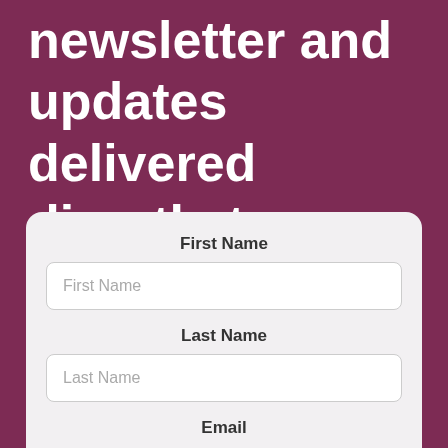newsletter and updates delivered directly to your inbox!
First Name
First Name
Last Name
Last Name
Email